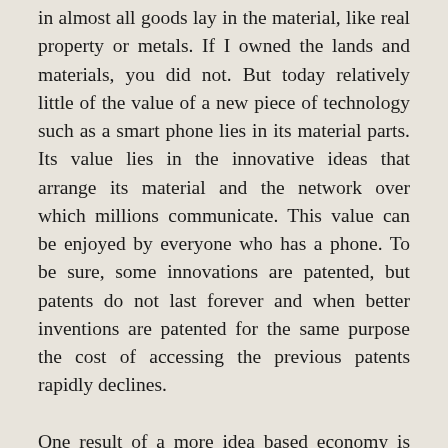in almost all goods lay in the material, like real property or metals. If I owned the lands and materials, you did not. But today relatively little of the value of a new piece of technology such as a smart phone lies in its material parts. Its value lies in the innovative ideas that arrange its material and the network over which millions communicate. This value can be enjoyed by everyone who has a phone. To be sure, some innovations are patented, but patents do not last forever and when better inventions are patented for the same purpose the cost of accessing the previous patents rapidly declines.
One result of a more idea based economy is that innovations move much more rapidly down the income scale. It took a very long time for timepieces to be widely owned, decades for